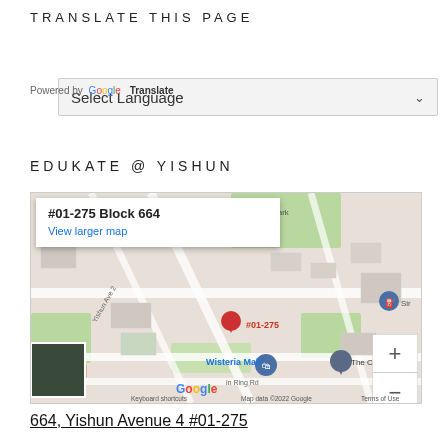TRANSLATE THIS PAGE
[Figure (screenshot): Google Translate widget with 'Select Language' dropdown]
Powered by Google Translate
EDUKATE @ YISHUN
[Figure (map): Google Map showing location at #01-275 Block 664, Yishun Avenue 4, with map popup, zoom controls, Wisteria Mall and The Criterion landmarks visible]
664, Yishun Avenue 4 #01-275